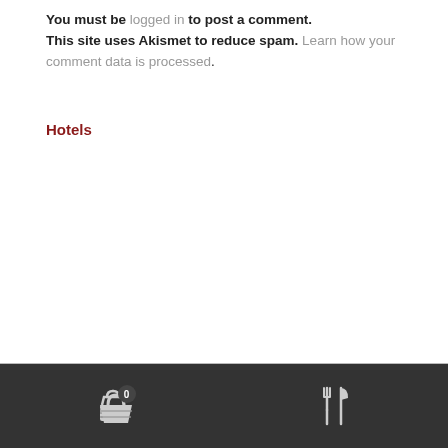You must be logged in to post a comment. This site uses Akismet to reduce spam. Learn how your comment data is processed.
Hotels
[Figure (other): Website footer bar with dark background containing a shopping basket icon with badge showing '0' and a fork-and-knife restaurant icon]